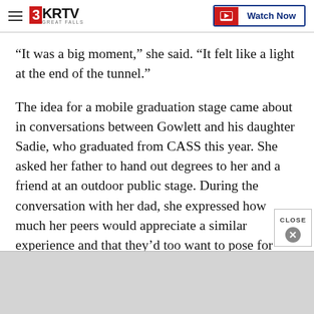3KRTV Great Falls | Watch Now
“It was a big moment,” she said. “It felt like a light at the end of the tunnel.”
The idea for a mobile graduation stage came about in conversations between Gowlett and his daughter Sadie, who graduated from CASS this year. She asked her father to hand out degrees to her and a friend at an outdoor public stage. During the conversation with her dad, she expressed how much her peers would appreciate a similar experience and that they’d too want to pose for graduation photos on a stage.